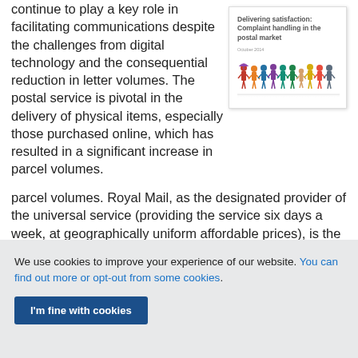continue to play a key role in facilitating communications despite the challenges from digital technology and the consequential reduction in letter volumes. The postal service is pivotal in the delivery of physical items, especially those purchased online, which has resulted in a significant increase in parcel volumes. Royal Mail, as the designated provider of the universal service (providing the service six days a week, at geographically uniform affordable prices), is the largest operator within the wider postal market. It
[Figure (illustration): Book cover for 'Delivering satisfaction: Complaint handling in the postal market' dated October 2014, showing colorful illustrated people figures.]
We use cookies to improve your experience of our website. You can find out more or opt-out from some cookies.
I'm fine with cookies